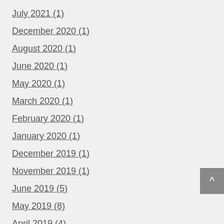July 2021 (1)
December 2020 (1)
August 2020 (1)
June 2020 (1)
May 2020 (1)
March 2020 (1)
February 2020 (1)
January 2020 (1)
December 2019 (1)
November 2019 (1)
June 2019 (5)
May 2019 (8)
April 2019 (4)
March 2019 (5)
February 2019 (6)